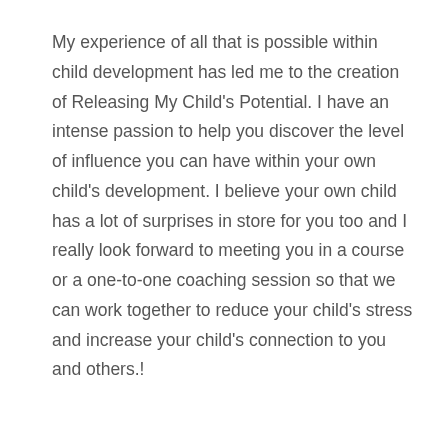My experience of all that is possible within child development has led me to the creation of Releasing My Child's Potential. I have an intense passion to help you discover the level of influence you can have within your own child's development. I believe your own child has a lot of surprises in store for you too and I really look forward to meeting you in a course or a one-to-one coaching session so that we can work together to reduce your child's stress and increase your child's connection to you and others.!